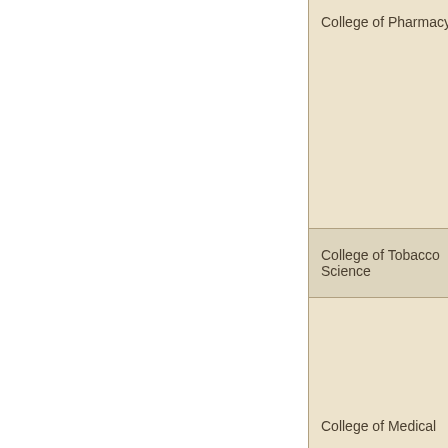| College of Pharmacy |
| College of Tobacco Science |
| College of Medical |
| College of Tea Science |
|  |